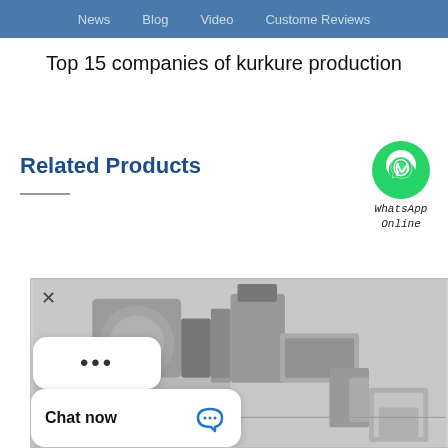News   Blog   Video   Custome Reviews
Top 15 companies of kurkure production
Related Products
[Figure (illustration): WhatsApp Online green chat icon with phone symbol and text 'WhatsApp Online' in italic/courier font]
[Figure (photo): Industrial kurkure production machinery equipment photo showing extruder and conveyor systems, with a chat popup overlay showing ellipsis dots bubble and 'Chat now' bar at the bottom with a blue chat icon]